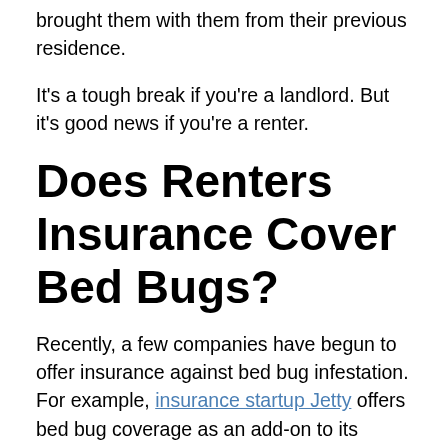brought them with them from their previous residence.
It's a tough break if you're a landlord. But it's good news if you're a renter.
Does Renters Insurance Cover Bed Bugs?
Recently, a few companies have begun to offer insurance against bed bug infestation. For example, insurance startup Jetty offers bed bug coverage as an add-on to its renter's insurance policies.